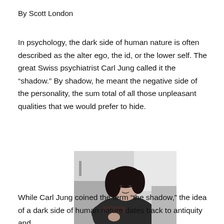By Scott London
In psychology, the dark side of human nature is often described as the alter ego, the id, or the lower self. The great Swiss psychiatrist Carl Jung called it the “shadow.” By shadow, he meant the negative side of the personality, the sum total of all those unpleasant qualities that we would prefer to hide.
[Figure (photo): Black and white portrait photo of a woman with dark curly hair, wearing dark clothing, seated and resting her arm, looking at the camera.]
While Carl Jung coined the term “the shadow,” the idea of a dark side of human nature dates back to antiquity and